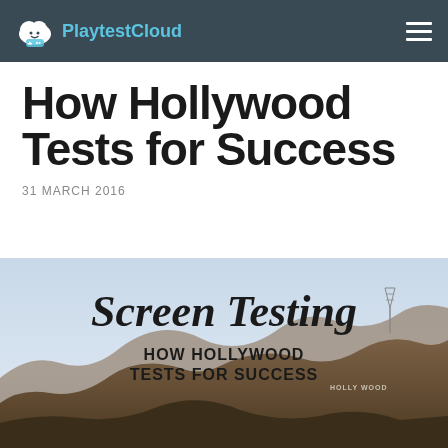PlaytestCloud
How Hollywood Tests for Success
31 MARCH 2016
[Figure (photo): Photo of the Hollywood Hills with the Hollywood sign visible, overlaid with text 'Screen Testing' in large serif font and 'HOW HOLLYWOOD TESTS FOR SUCCESS' in bold uppercase below it.]